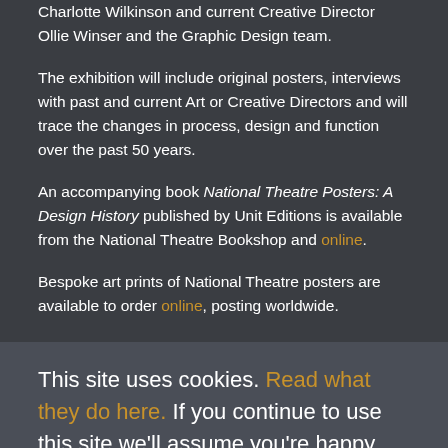Charlotte Wilkinson and current Creative Director Ollie Winser and the Graphic Design team.
The exhibition will include original posters, interviews with past and current Art or Creative Directors and will trace the changes in process, design and function over the past 50 years.
An accompanying book National Theatre Posters: A Design History published by Unit Editions is available from the National Theatre Bookshop and online.
Bespoke art prints of National Theatre posters are available to order online, posting worldwide.
This site uses cookies. Read what they do here. If you continue to use this site we'll assume you're happy with this.